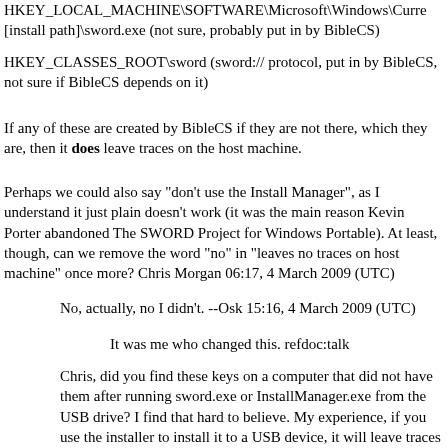HKEY_LOCAL_MACHINE\SOFTWARE\Microsoft\Windows\Curre[install path]\sword.exe (not sure, probably put in by BibleCS)
HKEY_CLASSES_ROOT\sword (sword:// protocol, put in by BibleCS, not sure if BibleCS depends on it)
If any of these are created by BibleCS if they are not there, which they are, then it does leave traces on the host machine.
Perhaps we could also say "don't use the Install Manager", as I understand it just plain doesn't work (it was the main reason Kevin Porter abandoned The SWORD Project for Windows Portable). At least, though, can we remove the word "no" in "leaves no traces on host machine" once more? Chris Morgan 06:17, 4 March 2009 (UTC)
No, actually, no I didn't. --Osk 15:16, 4 March 2009 (UTC)
It was me who changed this. refdoc:talk
Chris, did you find these keys on a computer that did not have them after running sword.exe or InstallManager.exe from the USB drive? I find that hard to believe. My experience, if you use the installer to install it to a USB device, it will leave traces on the computer on which you did the install. But if you install it temporarily to a computer and copy c:\Program Files\CrossWire\The SWORD Project to the USB drive, then